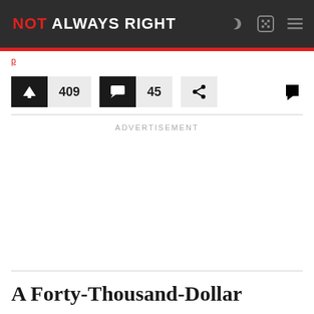NOT ALWAYS RIGHT
409 upvotes, 45 comments, share, flag
ADVERTISEMENT
A Forty-Thousand-Dollar